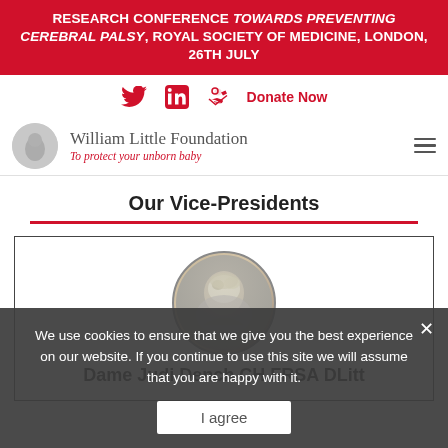RESEARCH CONFERENCE TOWARDS PREVENTING CEREBRAL PALSY, ROYAL SOCIETY OF MEDICINE, LONDON, 26th JULY
[Figure (screenshot): Social media icons (Twitter bird, LinkedIn logo, donation hand icon) and Donate Now link in red]
[Figure (logo): William Little Foundation logo: circular grey emblem with fetal figure, organisation name and tagline 'To protect your unborn baby']
Our Vice-Presidents
[Figure (photo): Circular portrait photo of Dame Judi Dench, an elderly woman with short blonde/white hair]
Dame Judi Dench CH FRSA DLitt
We use cookies to ensure that we give you the best experience on our website. If you continue to use this site we will assume that you are happy with it.
I agree